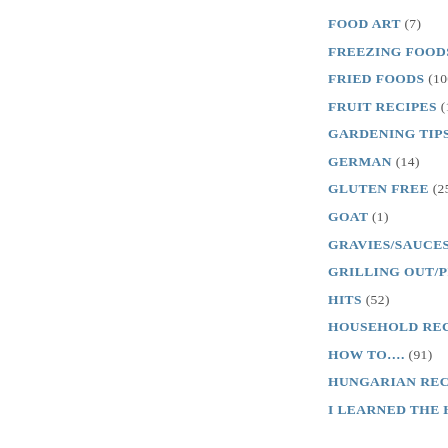FOOD ART (7)
FREEZING FOODS (
FRIED FOODS (100)
FRUIT RECIPES (175
GARDENING TIPS A
GERMAN (14)
GLUTEN FREE (25)
GOAT (1)
GRAVIES/SAUCES (
GRILLING OUT/PIC
HITS (52)
HOUSEHOLD RECIPE
HOW TO…. (91)
HUNGARIAN RECIPE
I LEARNED THE HA